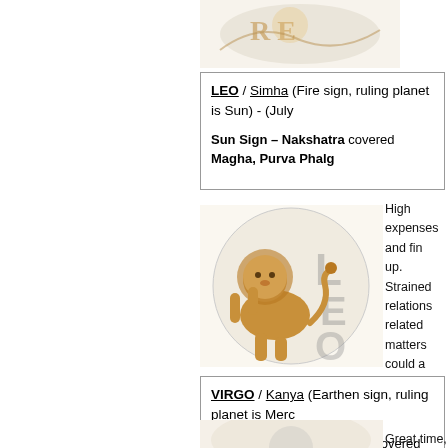[Figure (illustration): Partial zodiac illustration at top of page, cropped]
LEO / Simha (Fire sign, ruling planet is Sun) - (July ...
Sun Sign – Nakshatra covered Magha, Purva Phalg...
[Figure (illustration): Leo zodiac sign illustration with lion rearing up and LEO letters]
High expenses and fin... up. Strained relations ... related matters could a... tensions may add to e... entering into new matr... some time.
VIRGO / Kanya (Earthen sign, ruling planet is Merc...
Mercury Sign – Nakshatra covered Uttara Phalgu... (first 2 parts)
[Figure (illustration): Virgo zodiac sign illustration, partially visible]
Great time, excellent... incurred earlier! Pro...